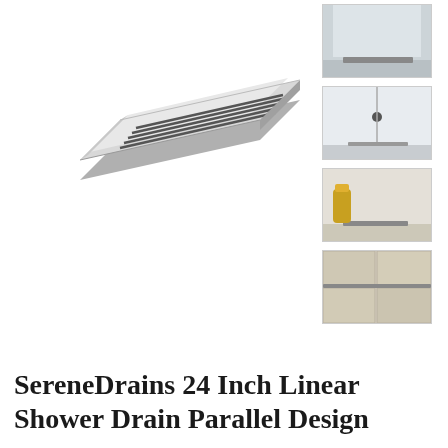[Figure (photo): Main product image of a SereneDrains 24 Inch Linear Shower Drain with Parallel Design, shown at an angle on a white background. The drain has a polished metallic rectangular form with parallel slotted grate.]
[Figure (photo): Thumbnail 1: Installation photo showing the linear drain installed at the wall edge of a shower floor, top-down view.]
[Figure (photo): Thumbnail 2: Installation photo showing the drain installed along a white tiled shower wall with a small tool or component nearby.]
[Figure (photo): Thumbnail 3: Installation photo showing the drain with a yellow spray bottle or container next to it in a shower setting.]
[Figure (photo): Thumbnail 4: Installation photo showing the linear drain installed flush with tan/beige large-format floor tiles.]
SereneDrains 24 Inch Linear Shower Drain Parallel Design